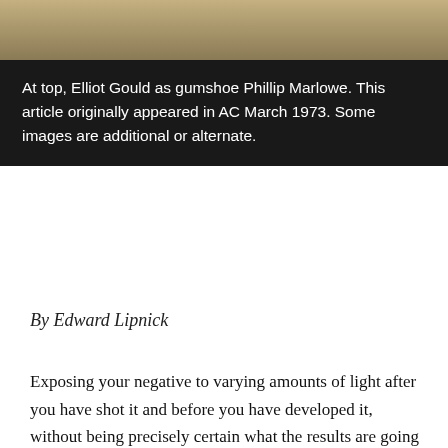[Figure (photo): Top portion of page showing a partial title/masthead in large bold letters on a tan/gold background]
At top, Elliot Gould as gumshoe Phillip Marlowe. This article originally appeared in AC March 1973. Some images are additional or alternate.
By Edward Lipnick
Exposing your negative to varying amounts of light after you have shot it and before you have developed it, without being precisely certain what the results are going to look like, wouldn't seem like a technique designed to reduce the anxiety level of a cameraman shooting a major feature, or to ensure a good night's sleep for the director or the manager of the laboratory responsible for these shenanigans. But it worked exceptionally well for director of photography Vilmos Zsigmond, director Robert Altman and Technicolor, who used variable flashing as a